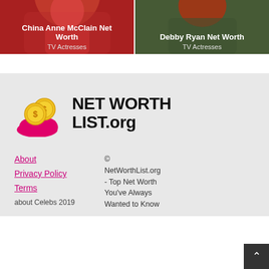[Figure (photo): Card thumbnail for China Anne McClain Net Worth - TV Actresses, red background with person in red outfit]
[Figure (photo): Card thumbnail for Debby Ryan Net Worth - TV Actresses, dark green background with person with red hair]
[Figure (logo): Net Worth List.org logo - pink hand holding two gold coins with dollar signs]
NET WORTH LIST.org
About
Privacy Policy
Terms
about Celebs 2019
© NetWorthList.org - Top Net Worth You've Always Wanted to Know